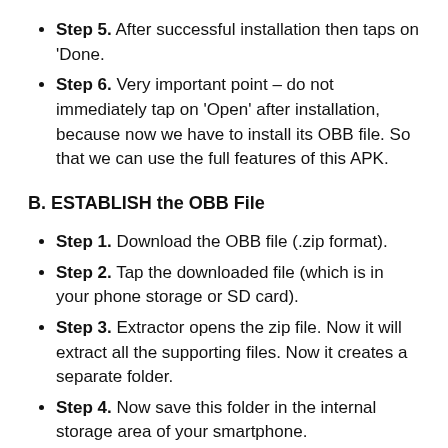Step 5. After successful installation then taps on 'Done.
Step 6. Very important point – do not immediately tap on 'Open' after installation, because now we have to install its OBB file. So that we can use the full features of this APK.
B. ESTABLISH the OBB File
Step 1. Download the OBB file (.zip format).
Step 2. Tap the downloaded file (which is in your phone storage or SD card).
Step 3. Extractor opens the zip file. Now it will extract all the supporting files. Now it creates a separate folder.
Step 4. Now save this folder in the internal storage area of your smartphone.